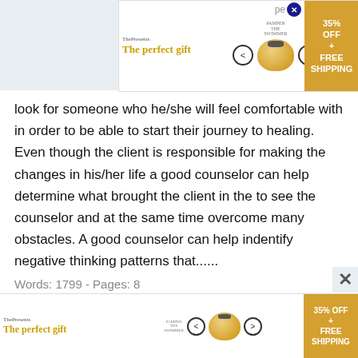[Figure (screenshot): Advertisement banner at top: 'The perfect gift' with bowl image, navigation arrows, and 35% OFF FREE SHIPPING gold box]
look for someone who he/she will feel comfortable with in order to be able to start their journey to healing. Even though the client is responsible for making the changes in his/her life a good counselor can help determine what brought the client in the to see the counselor and at the same time overcome many obstacles. A good counselor can help indentify negative thinking patterns that......
Words: 1799 - Pages: 8
Production Managament
..."production is a process by which goods or services are created". Production involves the step by step convertion of one form of material into another
[Figure (screenshot): Advertisement banner at bottom: 'The perfect gift' with bowl image, navigation arrows, and 35% OFF FREE SHIPPING gold box]